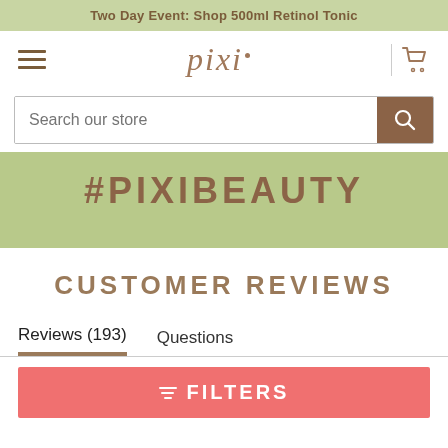Two Day Event: Shop 500ml Retinol Tonic
[Figure (logo): Pixi beauty brand logo with hamburger menu and cart icon navigation bar]
Search our store
#PIXIBEAUTY
CUSTOMER REVIEWS
Reviews (193)
Questions
≡ FILTERS